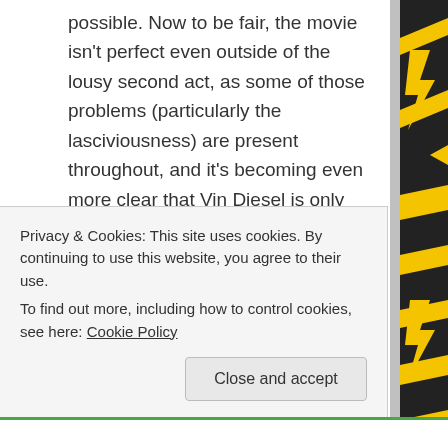possible.  Now to be fair, the movie isn't perfect even outside of the lousy second act, as some of those problems (particularly the lasciviousness) are present throughout, and it's becoming even more clear that Vin Diesel is only interested in making movies that stroke his own ego; even if doing so takes away from the overall package.  It feels like the film is full of those kind of compromises where it can only go so far in one direction before rushing back to meet back into a mediocre middle ground that's not nearly as satisfying as where things were headed.  Maybe some of this can
Privacy & Cookies: This site uses cookies. By continuing to use this website, you agree to their use.
To find out more, including how to control cookies, see here: Cookie Policy
Close and accept